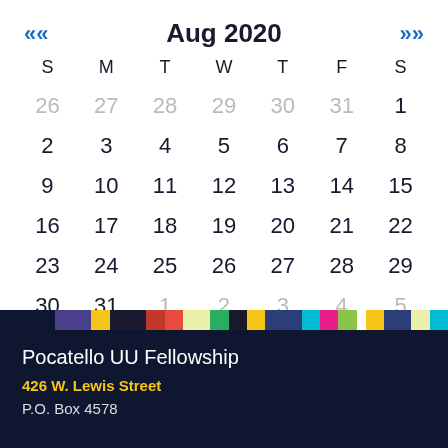<< Aug 2020 >>
| S | M | T | W | T | F | S |
| --- | --- | --- | --- | --- | --- | --- |
| 26 | 27 | 28 | 29 | 30 | 31 | 1 |
| 2 | 3 | 4 | 5 | 6 | 7 | 8 |
| 9 | 10 | 11 | 12 | 13 | 14 | 15 |
| 16 | 17 | 18 | 19 | 20 | 21 | 22 |
| 23 | 24 | 25 | 26 | 27 | 28 | 29 |
| 30 | 31 | 1 | 2 | 3 | 4 | 5 |
Pocatello UU Fellowship
426 W. Lewis Street
P.O. Box 4578